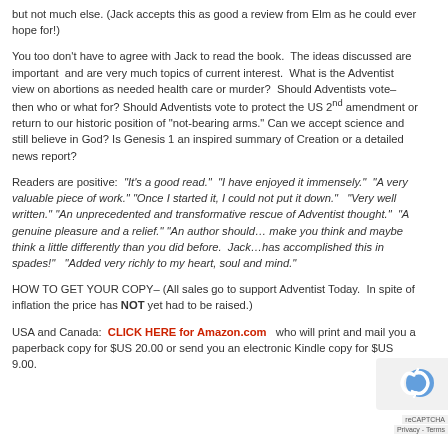but not much else. (Jack accepts this as good a review from Elm as he could ever hope for!)
You too don't have to agree with Jack to read the book. The ideas discussed are important and are very much topics of current interest. What is the Adventist view on abortions as needed health care or murder? Should Adventists vote–then who or what for? Should Adventists vote to protect the US 2nd amendment or return to our historic position of "not-bearing arms." Can we accept science and still believe in God? Is Genesis 1 an inspired summary of Creation or a detailed news report?
Readers are positive: "It's a good read." "I have enjoyed it immensely." "A very valuable piece of work." "Once I started it, I could not put it down." "Very well written." "An unprecedented and transformative rescue of Adventist thought." "A genuine pleasure and a relief." "An author should... make you think and maybe think a little differently than you did before. Jack...has accomplished this in spades!" "Added very richly to my heart, soul and mind."
HOW TO GET YOUR COPY– (All sales go to support Adventist Today. In spite of inflation the price has NOT yet had to be raised.)
USA and Canada: CLICK HERE for Amazon.com who will print and mail you a paperback copy for $US 20.00 or send you an electronic Kindle copy for $US 9.00.